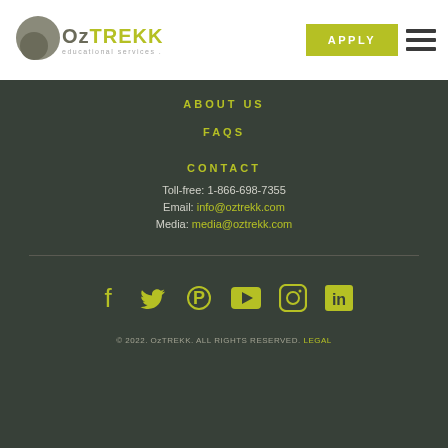[Figure (logo): OzTREKK educational services logo with circular grey emblem and yellow-green TREKK text]
APPLY
ABOUT US
FAQS
CONTACT
Toll-free: 1-866-698-7355
Email: info@oztrekk.com
Media: media@oztrekk.com
[Figure (illustration): Social media icons row: Facebook, Twitter, Pinterest, YouTube, Instagram, LinkedIn in yellow-green color]
© 2022. OzTREKK. ALL RIGHTS RESERVED. LEGAL